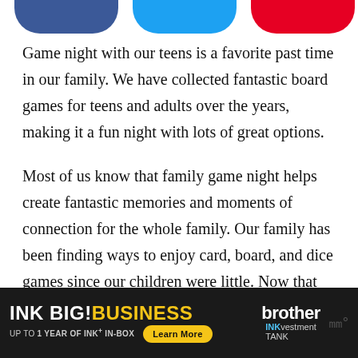[Figure (other): Partial view of three social media share buttons (Facebook blue, Twitter light blue, Pinterest red) cropped at the top of the page]
Game night with our teens is a favorite past time in our family. We have collected fantastic board games for teens and adults over the years, making it a fun night with lots of great options.
Most of us know that family game night helps create fantastic memories and moments of connection for the whole family. Our family has been finding ways to enjoy card, board, and dice games since our children were little. Now that they are older, I have to admit that family game night is even more fun!
[Figure (other): Advertisement banner for Brother INKvestment Tank printer: 'INK BIG! BUSINESS - UP TO 1 YEAR OF INK+ IN-BOX' with Learn More button and Brother logo]